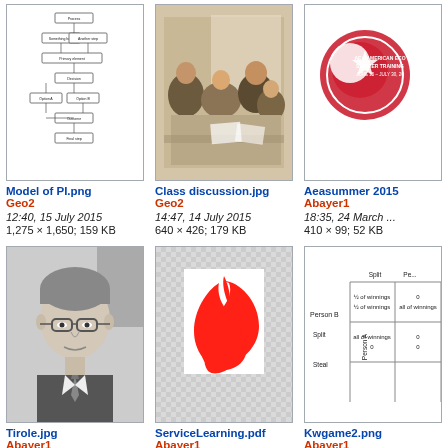[Figure (flowchart): Model of PI.png - flowchart diagram showing a process model]
Model of PI.png
Geo2
12:40, 15 July 2015
1,275 × 1,650; 159 KB
[Figure (photo): Class discussion.jpg - photo of students in a classroom discussion]
Class discussion.jpg
Geo2
14:47, 14 July 2015
640 × 426; 179 KB
[Figure (logo): Aeasummer2015 - red circular logo/badge partially visible]
Aeasummer 2015
Abayer1
18:35, 24 March ...
410 × 99; 52 KB
[Figure (photo): Tirole.jpg - black and white portrait photo of an older man with glasses]
Tirole.jpg
Abayer1
10:26, 13 October 2014
137 × 191; 11 KB
[Figure (illustration): ServiceLearning.pdf - Adobe PDF icon on checkered background]
ServiceLearning.pdf
Abayer1
18:52, 21 January 2014
; 106 KB
[Figure (other): Kwgame2.png - diagram with game theory payoff matrix partially visible]
Kwgame2.png
Abayer1
11:52, 14 January...
677 × 426; 51 KB